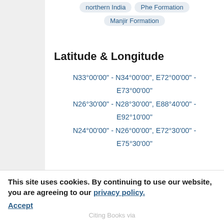northern India
Phe Formation
Manjir Formation
Latitude & Longitude
N33°00'00" - N34°00'00", E72°00'00" - E73°00'00"
N26°30'00" - N28°30'00", E88°40'00" - E92°10'00"
N24°00'00" - N26°00'00", E72°30'00" - E75°30'00"
View Full GeoRef Record
This site uses cookies. By continuing to use our website, you are agreeing to our privacy policy. Accept
Citing Books via